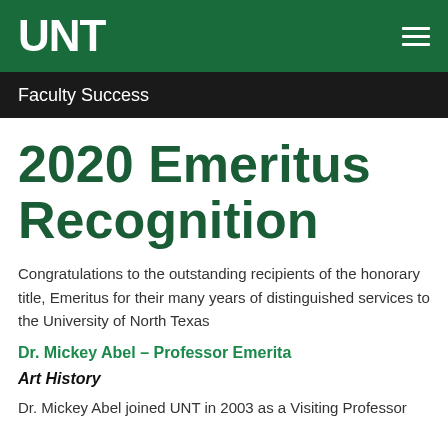UNT
Faculty Success
2020 Emeritus Recognition
Congratulations to the outstanding recipients of the honorary title, Emeritus for their many years of distinguished services to the University of North Texas
Dr. Mickey Abel – Professor Emerita
Art History
Dr. Mickey Abel joined UNT in 2003 as a Visiting Professor